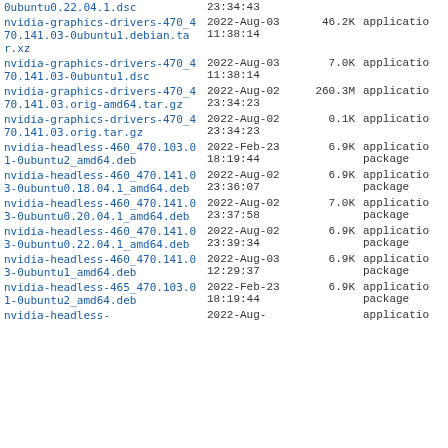| Name | Date | Size | Type |
| --- | --- | --- | --- |
| 0ubuntu0.22.04.1.dsc | 23:34:43 |  |  |
| nvidia-graphics-drivers-470_470.141.03-0ubuntu1.debian.tar.xz | 2022-Aug-03 11:38:14 | 46.2K | applicatio |
| nvidia-graphics-drivers-470_470.141.03-0ubuntu1.dsc | 2022-Aug-03 11:38:14 | 7.0K | applicatio |
| nvidia-graphics-drivers-470_470.141.03.orig-amd64.tar.gz | 2022-Aug-02 23:34:23 | 260.3M | applicatio |
| nvidia-graphics-drivers-470_470.141.03.orig.tar.gz | 2022-Aug-02 23:34:23 | 0.1K | applicatio |
| nvidia-headless-460_470.103.01-0ubuntu2_amd64.deb | 2022-Feb-23 18:19:44 | 6.9K | applicatio package |
| nvidia-headless-460_470.141.03-0ubuntu0.18.04.1_amd64.deb | 2022-Aug-02 23:36:07 | 6.9K | applicatio package |
| nvidia-headless-460_470.141.03-0ubuntu0.20.04.1_amd64.deb | 2022-Aug-02 23:37:58 | 7.0K | applicatio package |
| nvidia-headless-460_470.141.03-0ubuntu0.22.04.1_amd64.deb | 2022-Aug-02 23:39:34 | 6.9K | applicatio package |
| nvidia-headless-460_470.141.03-0ubuntu1_amd64.deb | 2022-Aug-03 12:29:37 | 6.9K | applicatio package |
| nvidia-headless-465_470.103.01-0ubuntu2_amd64.deb | 2022-Feb-23 18:19:44 | 6.9K | applicatio package |
| nvidia-headless- | 2022-Aug- |  | applicatio |